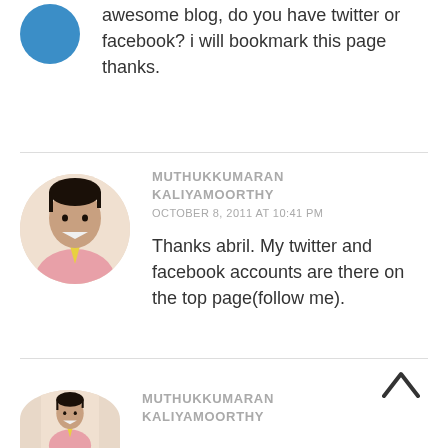awesome blog, do you have twitter or facebook? i will bookmark this page thanks.
[Figure (photo): Blue circle avatar for first commenter]
[Figure (photo): Circular profile photo of Muthukkumaran Kaliyamoorthy - man in pink shirt with yellow tie]
MUTHUKKUMARAN KALIYAMOORTHY
OCTOBER 8, 2011 AT 10:41 PM
Thanks abril. My twitter and facebook accounts are there on the top page(follow me).
[Figure (photo): Circular profile photo of Muthukkumaran Kaliyamoorthy (partial, bottom of page)]
MUTHUKKUMARAN KALIYAMOORTHY